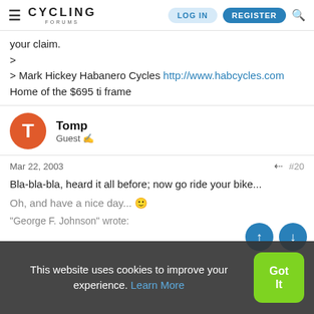Cycling Forums — LOG IN | REGISTER
your claim.
>
> Mark Hickey Habanero Cycles http://www.habcycles.com
Home of the $695 ti frame
Tomp
Guest
Mar 22, 2003  #20
Bla-bla-bla, heard it all before; now go ride your bike...
Oh, and have a nice day... 🙂
"George F. Johnson" wrote:
This website uses cookies to improve your experience. Learn More